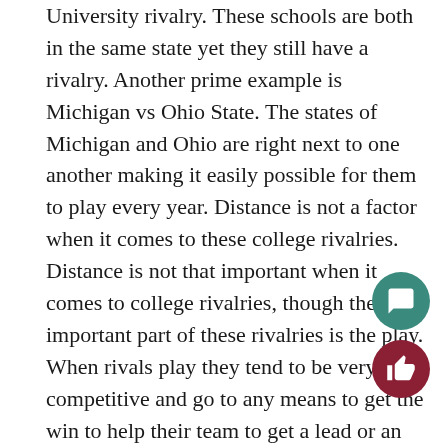University rivalry. These schools are both in the same state yet they still have a rivalry. Another prime example is Michigan vs Ohio State. The states of Michigan and Ohio are right next to one another making it easily possible for them to play every year. Distance is not a factor when it comes to these college rivalries. Distance is not that important when it comes to college rivalries, though the most important part of these rivalries is the play. When rivals play they tend to be very competitive and go to any means to get the win to help their team to get a lead or an advantage over the other team. Winning is everything in these games. This is a college rivalry. The fans are here to watch them f and play their hearts out.

Some of the longest rivalries started in the 19th century. The oldest rivalry is the one between Ya